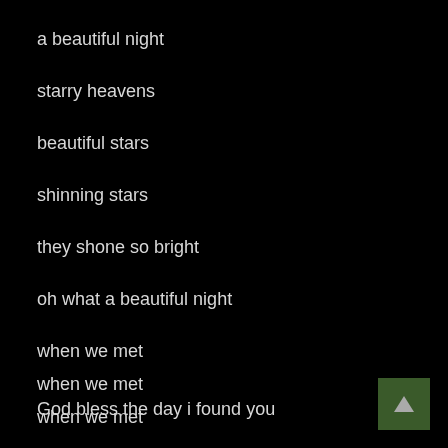a beautiful night
starry heavens
beautiful stars
shinning stars
they shone so bright
oh what a beautiful night
when we met
when we met
when we met
God bless the day i found you